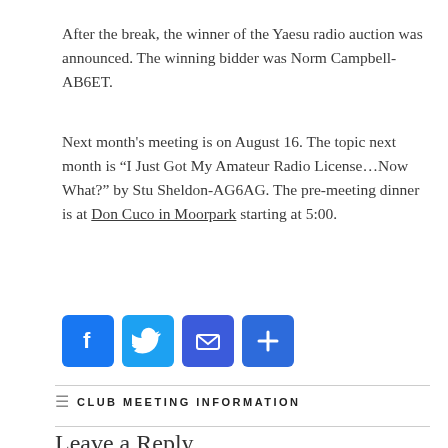After the break, the winner of the Yaesu radio auction was announced.  The winning bidder was Norm Campbell-AB6ET.
Next month's meeting is on August 16.  The topic next month is “I Just Got My Amateur Radio License…Now What?” by Stu Sheldon-AG6AG.  The pre-meeting dinner is at Don Cuco in Moorpark starting at 5:00.
[Figure (infographic): Four social share buttons: Facebook (blue), Twitter (light blue), Email (dark blue), Share/More (blue)]
CLUB MEETING INFORMATION
Leave a Reply